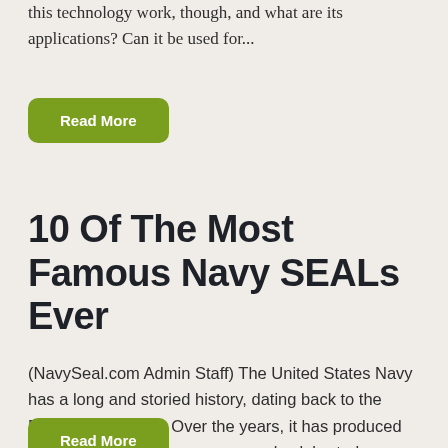this technology work, though, and what are its applications? Can it be used for...
Read More
10 Of The Most Famous Navy SEALs Ever
(NavySeal.com Admin Staff) The United States Navy has a long and storied history, dating back to the Revolutionary War. Over the years, it has produced some of the most courageous and celebrated warriors in American history. Many of these military personnel are born from the special operation unit known as the famous Navy SEALs, revered as...
Read More